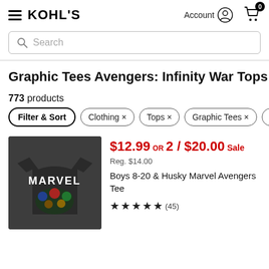KOHL'S  Account  Cart 0
Search
Graphic Tees Avengers: Infinity War Tops
773 products
Filter & Sort
Clothing ×
Tops ×
Graphic Tees ×
Aven…
[Figure (photo): Dark gray Marvel Avengers graphic t-shirt with Marvel logo and illustrated Avengers characters]
$12.99 OR 2 / $20.00 Sale
Reg. $14.00
Boys 8-20 & Husky Marvel Avengers Tee
★★★★★ (45)